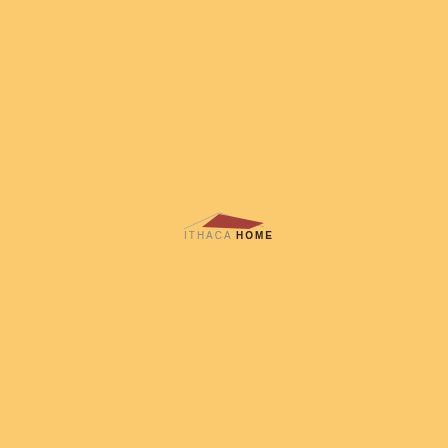[Figure (logo): Ithaca Home logo: a minimalist house roofline SVG above the text 'ITHACAHOME' where 'ITHACA' is in grey and 'HOME' is in dark/black bold letters, centered on a warm yellow/golden background.]